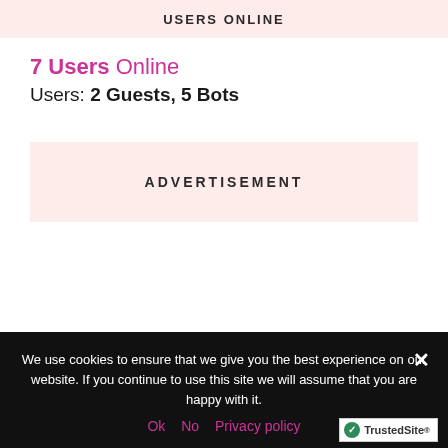USERS ONLINE
7 Users Online
Users: 2 Guests, 5 Bots
ADVERTISEMENT
We use cookies to ensure that we give you the best experience on our website. If you continue to use this site we will assume that you are happy with it.
Ok   No   Privacy policy